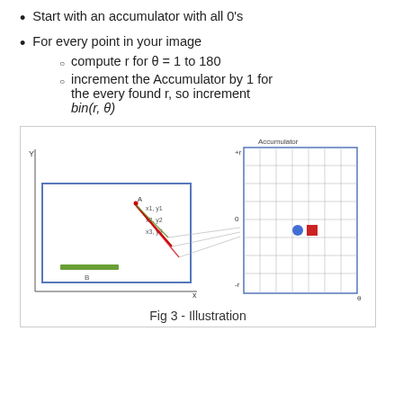Start with an accumulator with all 0's
For every point in your image
compute r for θ = 1 to 180
increment the Accumulator by 1 for the every found r, so increment bin(r, θ)
[Figure (illustration): Diagram showing a 2D image space with Y and X axes on the left, containing a blue rectangle with colored line segments (green horizontal bar, red diagonal lines labeled x1,y1; x2,y2; x3,y3), and lines connecting to an Accumulator grid on the right with axes labeled +r, 0, -r (vertical) and θ (horizontal), with a blue circle and red square marking a peak in the accumulator.]
Fig 3 - Illustration